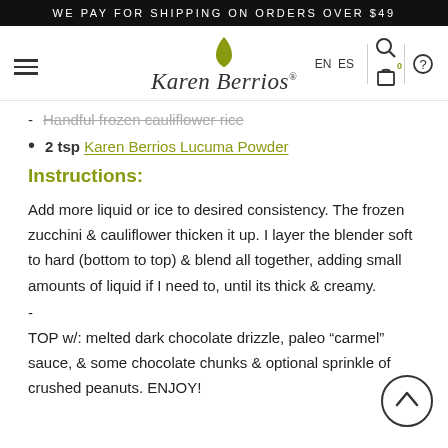WE PAY FOR SHIPPING ON ORDERS OVER $49
[Figure (logo): Karen Berrios brand logo with olive/green leaf icon above italic script text 'Karen Berrios']
- Handful frozen cauliflower rice
2 tsp Karen Berrios Lucuma Powder
Instructions:
Add more liquid or ice to desired consistency. The frozen zucchini & cauliflower thicken it up. I layer the blender soft to hard (bottom to top) & blend all together, adding small amounts of liquid if I need to, until its thick & creamy.
-
TOP w/: melted dark chocolate drizzle, paleo “carmel” sauce, & some chocolate chunks & optional sprinkle of crushed peanuts. ENJOY!